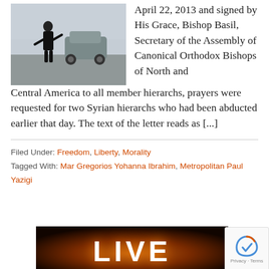[Figure (photo): Street scene with a person in dark clothing standing in the road near a vehicle]
April 22, 2013 and signed by His Grace, Bishop Basil, Secretary of the Assembly of Canonical Orthodox Bishops of North and Central America to all member hierarchs, prayers were requested for two Syrian hierarchs who had been abducted earlier that day. The text of the letter reads as [...]
Filed Under: Freedom, Liberty, Morality
Tagged With: Mar Gregorios Yohanna Ibrahim, Metropolitan Paul Yazigi
[Figure (photo): LIVE banner with fiery orange glow background]